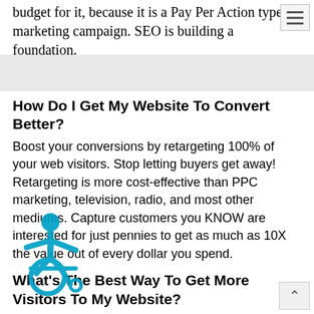budget for it, because it is a Pay Per Action type of marketing campaign. SEO is building a foundation.
How Do I Get My Website To Convert Better?
Boost your conversions by retargeting 100% of your web visitors. Stop letting buyers get away! Retargeting is more cost-effective than PPC marketing, television, radio, and most other mediums. Capture customers you KNOW are interested for just pennies to get as much as 10X the value out of every dollar you spend.
[Figure (illustration): Accessibility icon — blue wheelchair user symbol]
What's The Best Way To Get More Visitors To My Website?
Paid traffic is the BEST way to get more visitors, sales, and conversions immediately. By targeting your ideal customer with laser-precision, you can find high-converting traffic that is ready to buy. After they've